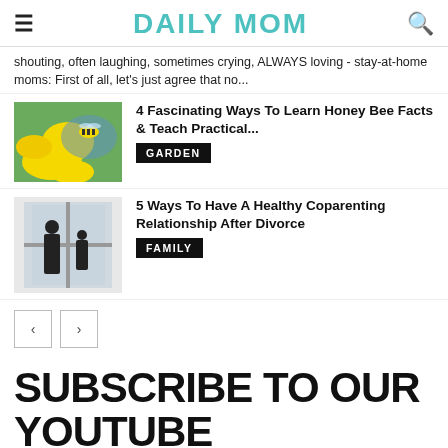DAILY MOM
shouting, often laughing, sometimes crying, ALWAYS loving - stay-at-home moms: First of all, let's just agree that no...
4 Fascinating Ways To Learn Honey Bee Facts & Teach Practical...
GARDEN
5 Ways To Have A Healthy Coparenting Relationship After Divorce
FAMILY
SUBSCRIBE TO OUR YOUTUBE